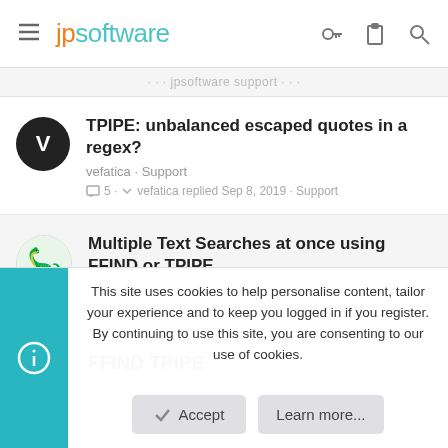jpsoftware
... jpsoftware support
TPIPE: unbalanced escaped quotes in a regex?
vefatica · Support
5 · vefatica replied Sep 8, 2019 · Support
Multiple Text Searches at once using FFIND or TPIPE
Joe Caverly · Support
4 · vefatica replied Aug 25, 2019 · Support
FFIND TPIPE
This site uses cookies to help personalise content, tailor your experience and to keep you logged in if you register.
By continuing to use this site, you are consenting to our use of cookies.